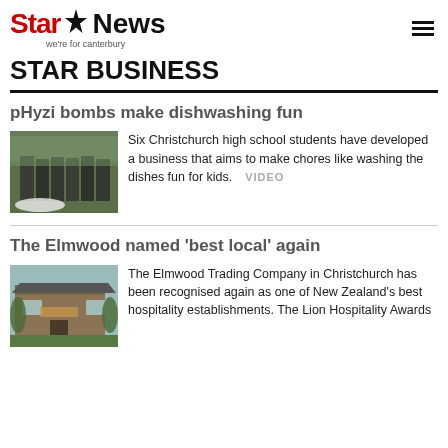Star News — we're for canterbury
STAR BUSINESS
pHyzi bombs make dishwashing fun
[Figure (photo): Group of six Christchurch high school students in black uniforms posing outdoors]
Six Christchurch high school students have developed a business that aims to make chores like washing the dishes fun for kids. VIDEO
The Elmwood named 'best local' again
[Figure (photo): Exterior photo of The Elmwood Trading Company building]
The Elmwood Trading Company in Christchurch has been recognised again as one of New Zealand's best hospitality establishments. The Lion Hospitality Awards